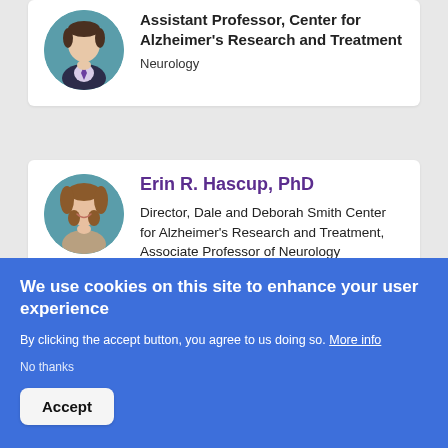[Figure (photo): Circular headshot of a male professional in a suit with a teal background]
Assistant Professor, Center for Alzheimer's Research and Treatment
Neurology
[Figure (photo): Circular headshot of Erin R. Hascup with curly hair, smiling, teal background]
Erin R. Hascup, PhD
Director, Dale and Deborah Smith Center for Alzheimer's Research and Treatment, Associate Professor of Neurology
We use cookies on this site to enhance your user experience
By clicking the accept button, you agree to us doing so. More info
No thanks